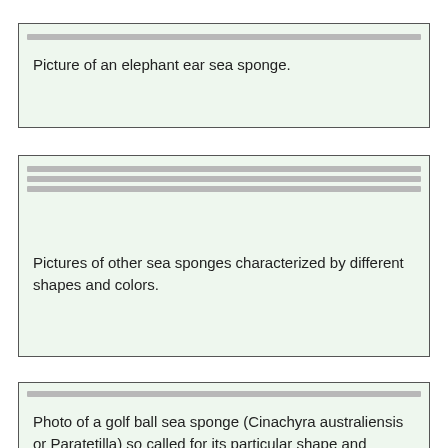[Figure (other): Picture of an elephant ear sea sponge. Shown as a placeholder box with gray stripes and green background.]
Picture of an elephant ear sea sponge.
[Figure (other): Pictures of other sea sponges characterized by different shapes and colors. Shown as a placeholder box with three gray stripes and green background.]
Pictures of other sea sponges characterized by different shapes and colors.
[Figure (other): Photo of a golf ball sea sponge (Cinachyra australiensis or Paratetilla) so called for its particular shape and texture. Shown as a placeholder box with gray stripe and green background.]
Photo of a golf ball sea sponge (Cinachyra australiensis or Paratetilla) so called for its particular shape and texture.